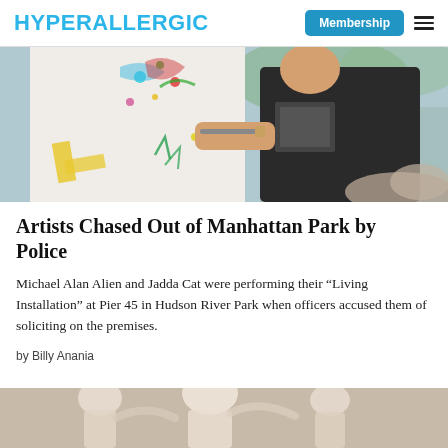HYPERALLERGIC
[Figure (photo): Artist painting on a canvas outdoors, wearing a black t-shirt, with colorful paint splashes visible on the canvas. Background shows a blurry park/waterfront scene.]
Artists Chased Out of Manhattan Park by Police
Michael Alan Alien and Jadda Cat were performing their “Living Installation” at Pier 45 in Hudson River Park when officers accused them of soliciting on the premises.
by Billy Anania
[Figure (photo): Partial view of classical marble sculptures of human figures.]